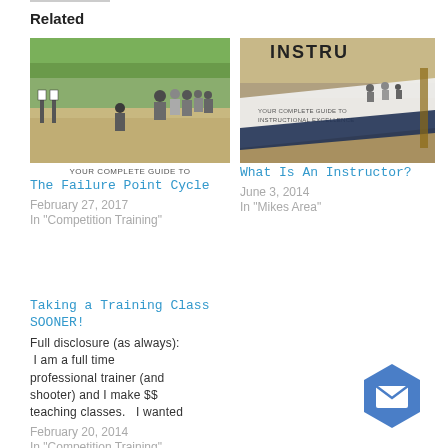Related
[Figure (photo): Outdoor shooting range with people and targets in field with trees]
YOUR COMPLETE GUIDE TO
The Failure Point Cycle
February 27, 2017
In "Competition Training"
[Figure (photo): Book cover showing INSTRUCTOR with people on a shooting range outdoors, YOUR COMPLETE GUIDE TO INSTRUCTIONAL EXCELLENCE]
What Is An Instructor?
June 3, 2014
In "Mikes Area"
Taking a Training Class SOONER!
Full disclosure (as always):  I am a full time professional trainer (and shooter) and I make $$ teaching classes.   I wanted
February 20, 2014
In "Competition Training"
[Figure (other): Blue hexagon mail/email button icon]